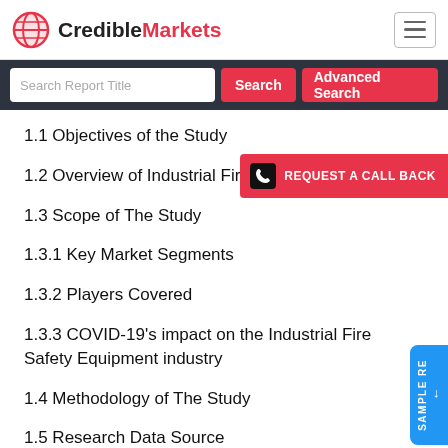CredibleMarkets
1.1 Objectives of the Study
1.2 Overview of Industrial Fire Saf…
1.3 Scope of The Study
1.3.1 Key Market Segments
1.3.2 Players Covered
1.3.3 COVID-19's impact on the Industrial Fire Safety Equipment industry
1.4 Methodology of The Study
1.5 Research Data Source